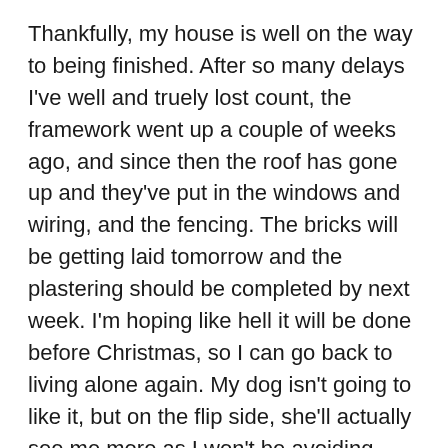Thankfully, my house is well on the way to being finished.  After so many delays I've well and truely lost count, the framework went up a couple of weeks ago, and since then the roof has gone up and they've put in the windows and wiring, and the fencing.  The bricks will be getting laid tomorrow and the plastering should be completed by next week.  I'm hoping like hell it will be done before Christmas, so I can go back to living alone again.  My dog isn't going to like it, but on the flip side, she'll actually see me more as I won't be avoiding home like I am now.